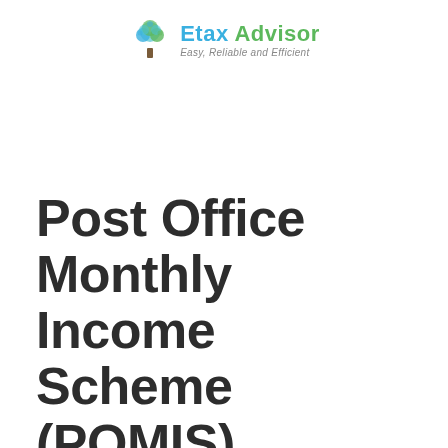[Figure (logo): Etax Advisor logo with stylized tree icon and text 'Etax Advisor - Easy, Reliable and Efficient']
Post Office Monthly Income Scheme (POMIS)
MAY 12, 2020